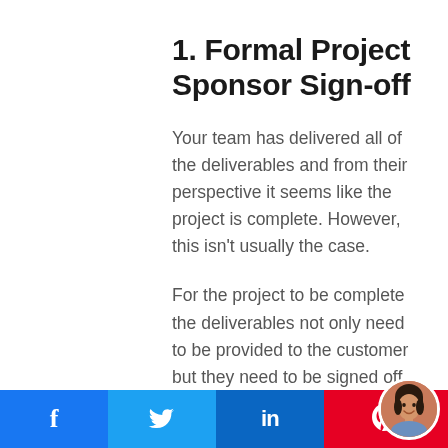1. Formal Project Sponsor Sign-off
Your team has delivered all of the deliverables and from their perspective it seems like the project is complete. However, this isn't usually the case.
For the project to be complete the deliverables not only need to be provided to the customer but they need to be signed off by the customer. This can be much more
[Figure (infographic): Social sharing bar with Facebook (blue), Twitter (light blue), LinkedIn (dark blue), Pinterest (red) buttons and a circular avatar photo in bottom right corner]